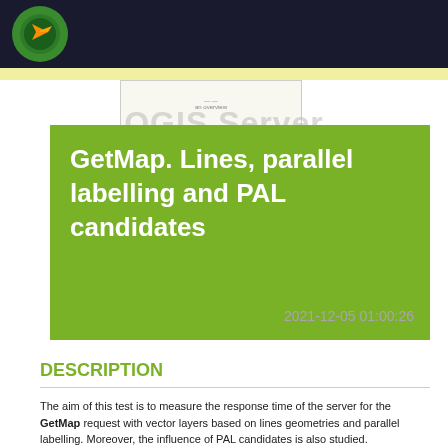QGIS Server Performance Report
[Figure (screenshot): Thumbnail/preview image of a document or chart]
GetMap. Lines, parallel labelling and PAL candidates
2021-12-05 01:00:26
DESCRIPTION
The aim of this test is to measure the response time of the server for the GetMap request with vector layers based on lines geometries and parallel labelling. Moreover, the influence of PAL candidates is also studied.